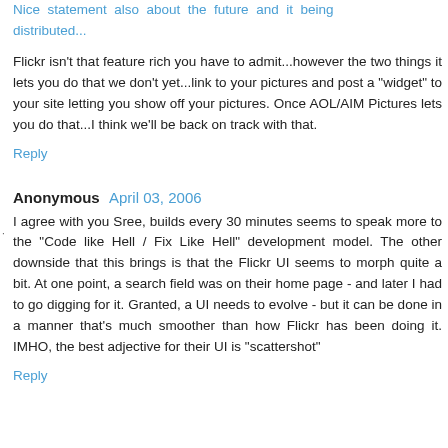Nice statement also about the future and it being distributed...
Flickr isn't that feature rich you have to admit...however the two things it lets you do that we don't yet...link to your pictures and post a "widget" to your site letting you show off your pictures. Once AOL/AIM Pictures lets you do that...I think we'll be back on track with that.
Reply
Anonymous  April 03, 2006
I agree with you Sree, builds every 30 minutes seems to speak more to the "Code like Hell / Fix Like Hell" development model. The other downside that this brings is that the Flickr UI seems to morph quite a bit. At one point, a search field was on their home page - and later I had to go digging for it. Granted, a UI needs to evolve - but it can be done in a manner that's much smoother than how Flickr has been doing it. IMHO, the best adjective for their UI is "scattershot"
Reply